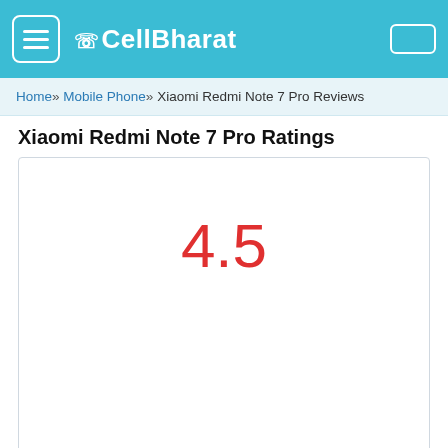CellBharat
Home » Mobile Phone » Xiaomi Redmi Note 7 Pro Reviews
Xiaomi Redmi Note 7 Pro Ratings
[Figure (other): Rating display showing 4.5 in large red text inside a bordered white box]